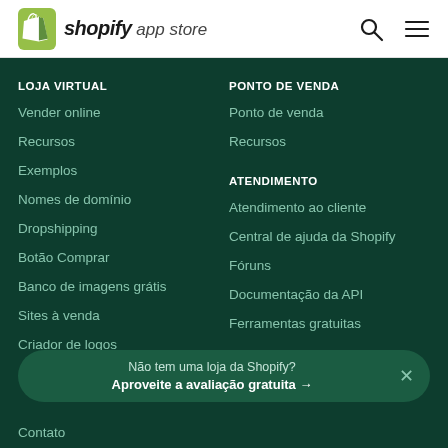shopify app store
LOJA VIRTUAL
Vender online
Recursos
Exemplos
Nomes de domínio
Dropshipping
Botão Comprar
Banco de imagens grátis
Sites à venda
Criador de logos
PONTO DE VENDA
Ponto de venda
Recursos
ATENDIMENTO
Atendimento ao cliente
Central de ajuda da Shopify
Fóruns
Documentação da API
Ferramentas gratuitas
Não tem uma loja da Shopify? Aproveite a avaliação gratuita →
Contato